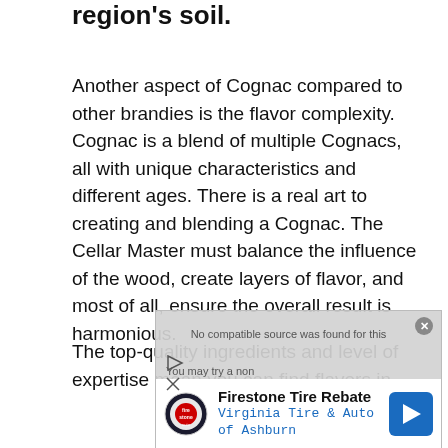region's soil.
Another aspect of Cognac compared to other brandies is the flavor complexity. Cognac is a blend of multiple Cognacs, all with unique characteristics and different ages. There is a real art to creating and blending a Cognac. The Cellar Master must balance the influence of the wood, create layers of flavor, and most of all, ensure the overall result is harmonious.
The top-quality ingredients and level of expertise mean you can find flavors in
[Figure (other): Advertisement overlay: Firestone Tire Rebate - Virginia Tire & Auto of Ashburn, with a video player message 'No compatible source was found for this' and 'You may try a non alcoholic beer but taste.' Controls visible with play and close buttons.]